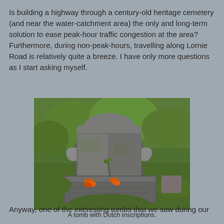Is building a highway through a century-old heritage cemetery (and near the water-catchment area) the only and long-term solution to ease peak-hour traffic congestion at the area? Furthermore, during non-peak-hours, travelling along Lornie Road is relatively quite a breeze. I have only more questions as I start asking myself.
[Figure (photo): A photograph of an old stone tomb with Dutch inscriptions, surrounded by green grass and plants. Orange flowers are placed on top of the flat stone slab.]
A tomb with Dutch inscriptions.
Anyway, one of the interesting tombs that we saw during our